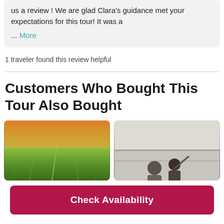us a review ! We are glad Clara's guidance met your expectations for this tour! It was a ... More
1 traveler found this review helpful
Customers Who Bought This Tour Also Bought
[Figure (photo): Aerial view of green vineyard rows at sunset with a path winding through, badge: Likely to Sell Out]
[Figure (photo): People on a tour looking up at a building, badge: Likely to Sell Out]
Check Availability